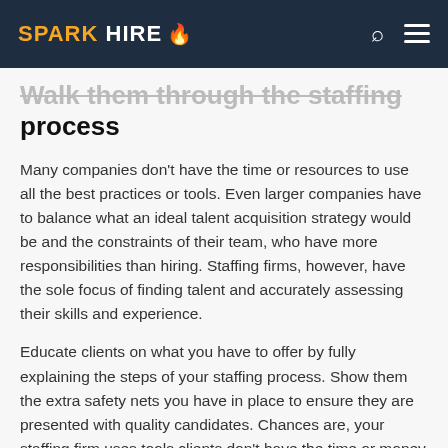SPARK HIRE 🔥
Walk them through the staffing process
Many companies don't have the time or resources to use all the best practices or tools. Even larger companies have to balance what an ideal talent acquisition strategy would be and the constraints of their team, who have more responsibilities than hiring. Staffing firms, however, have the sole focus of finding talent and accurately assessing their skills and experience.
Educate clients on what you have to offer by fully explaining the steps of your staffing process. Show them the extra safety nets you have in place to ensure they are presented with quality candidates. Chances are, your staffing firm uses tools clients don't have the time or money to implement